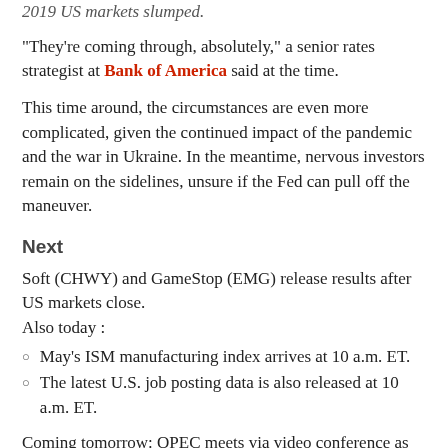2019 US markets slumped.
“They’re coming through, absolutely,” a senior rates strategist at Bank of America said at the time.
This time around, the circumstances are even more complicated, given the continued impact of the pandemic and the war in Ukraine. In the meantime, nervous investors remain on the sidelines, unsure if the Fed can pull off the maneuver.
Next
Soft (CHWY) and GameStop (EMG) release results after US markets close.
Also today :
May’s ISM manufacturing index arrives at 10 a.m. ET.
The latest U.S. job posting data is also released at 10 a.m. ET.
Coming tomorrow: OPEC meets via video conference as the European oil embargo puts pressure on prices.
Related Posts:
1. Henley & Partners: Investment Migration: “We need